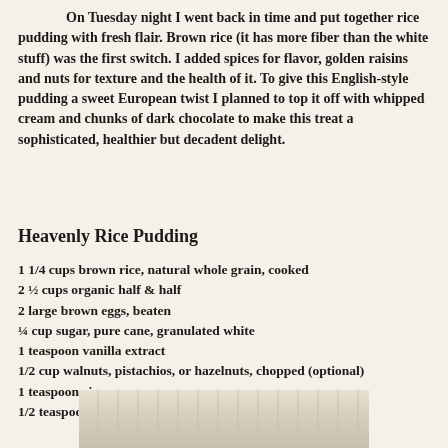On Tuesday night I went back in time and put together rice pudding with fresh flair. Brown rice (it has more fiber than the white stuff) was the first switch. I added spices for flavor, golden raisins and nuts for texture and the health of it. To give this English-style pudding a sweet European twist I planned to top it off with whipped cream and chunks of dark chocolate to make this treat a sophisticated, healthier but decadent delight.
Heavenly Rice Pudding
1 1/4 cups brown rice, natural whole grain, cooked
2 ½ cups organic half & half
2 large brown eggs, beaten
¼ cup sugar, pure cane, granulated white
1 teaspoon vanilla extract
1/2 cup walnuts, pistachios, or hazelnuts, chopped (optional)
1 teaspoon cinnamon
1/2 teaspoon nutmeg
[Figure (photo): Partial photo of what appears to be a light-colored fabric or cloth surface, cream/off-white tones]